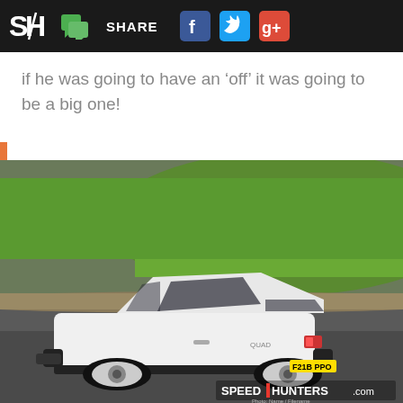SH SHARE [Facebook] [Twitter] [Google+]
if he was going to have an 'off' it was going to be a big one!
[Figure (photo): White hatchback car (Volvo 340/360) on a race track, license plate F21B PPO, with green grass bank in background. Speedhunters.com watermark in lower right.]